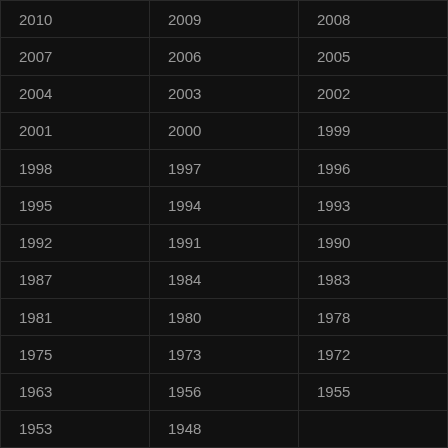| 2010 | 2009 | 2008 |
| 2007 | 2006 | 2005 |
| 2004 | 2003 | 2002 |
| 2001 | 2000 | 1999 |
| 1998 | 1997 | 1996 |
| 1995 | 1994 | 1993 |
| 1992 | 1991 | 1990 |
| 1987 | 1984 | 1983 |
| 1981 | 1980 | 1978 |
| 1975 | 1973 | 1972 |
| 1963 | 1956 | 1955 |
| 1953 | 1948 |  |